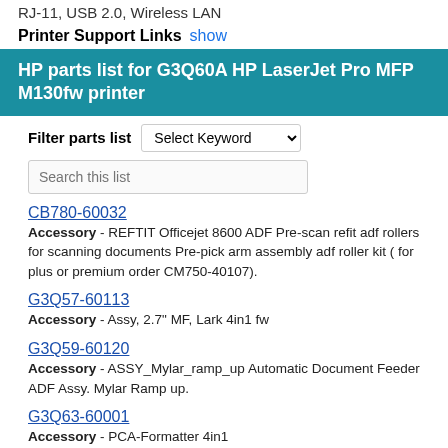RJ-11, USB 2.0, Wireless LAN
Printer Support Links  show
HP parts list for G3Q60A HP LaserJet Pro MFP M130fw printer
Filter parts list  Select Keyword
Search this list
CB780-60032
Accessory - REFTIT Officejet 8600 ADF Pre-scan refit adf rollers for scanning documents Pre-pick arm assembly adf roller kit ( for plus or premium order CM750-40107).
G3Q57-60113
Accessory - Assy, 2.7" MF, Lark 4in1 fw
G3Q59-60120
Accessory - ASSY_Mylar_ramp_up Automatic Document Feeder ADF Assy. Mylar Ramp up.
G3Q63-60001
Accessory - PCA-Formatter 4in1
RC5-0500-000CN
Accessory - Holder, Wi-Fi